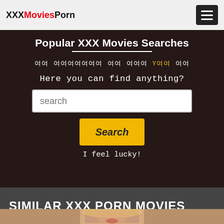XXXMoviesPorn
Popular XXX Movies Searches
여 | 여여여여여여여 | 여여 | 여여여 | Y여여 | 여여
Here you can find anything?
search
Search
I feel lucky!
SIMILAR XXX PORN MOVIES
[Figure (photo): Partial thumbnail of a person at bottom of page]